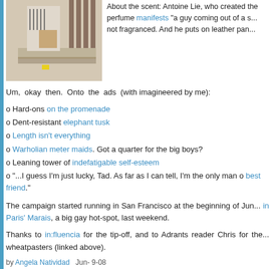[Figure (photo): Photo of a person near a building wall, partially visible]
About the scent: Antoine Lie, who created the perfume manifests "a guy coming out of a shower, not fragranced. And he puts on leather pan...
Um, okay then. Onto the ads (with imagineered by me):
o Hard-ons on the promenade
o Dent-resistant elephant tusk
o Length isn't everything
o Warholian meter maids. Got a quarter for the big boys?
o Leaning tower of indefatigable self-esteem
o "...I guess I'm just lucky, Tad. As far as I can tell, I'm the only man o... best friend."
The campaign started running in San Francisco at the beginning of Jun... in Paris' Marais, a big gay hot-spot, last weekend.
Thanks to in:fluencia for the tip-off, and to Adrants reader Chris for the... wheatpasters (linked above).
by Angela Natividad   Jun- 9-08
Topic: Brands, Guerilla, Poster, Promotions, Racy